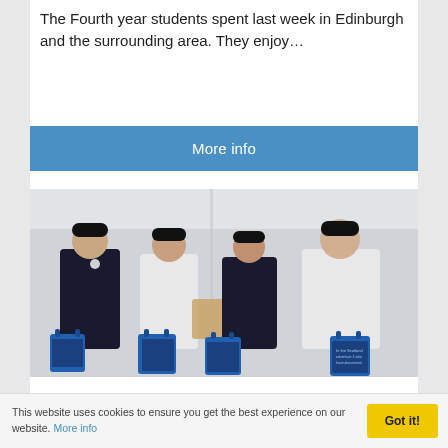The Fourth year students spent last week in Edinburgh and the surrounding area. They enjoy…
More info
[Figure (photo): Four school students wearing black caps and black/white school uniforms, holding blue shopping bags with city imagery, standing against a light-colored wall.]
This website uses cookies to ensure you get the best experience on our website. More info
Got it!